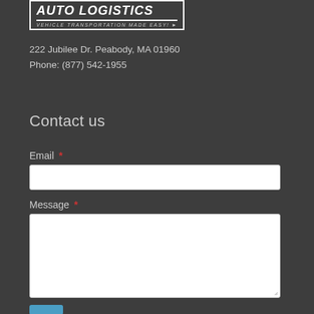[Figure (logo): Auto Logistics company logo with arrow, subtitle: VEHICLE TRANSPORTATION MADE EASY!]
222 Jubilee Dr. Peabody, MA 01960
Phone: (877) 542-1955
Contact us
Email *
Message *